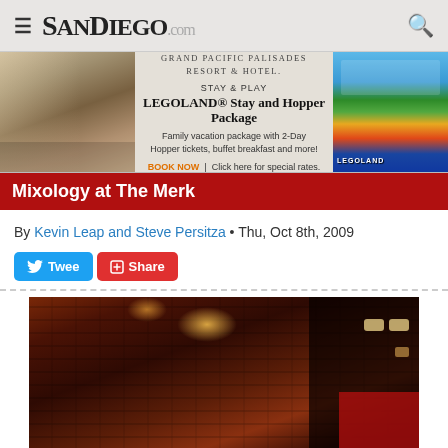SanDiego.com
[Figure (photo): Advertisement banner for Grand Pacific Palisades Resort & Hotel featuring LEGOLAND Stay and Hopper Package]
Mixology at The Merk
By Kevin Leap and Steve Persitza • Thu, Oct 8th, 2009
[Figure (screenshot): Tweet and Share social media buttons]
[Figure (photo): Interior photo of The Merk bar showing brick walls with ambient lighting and red accents]